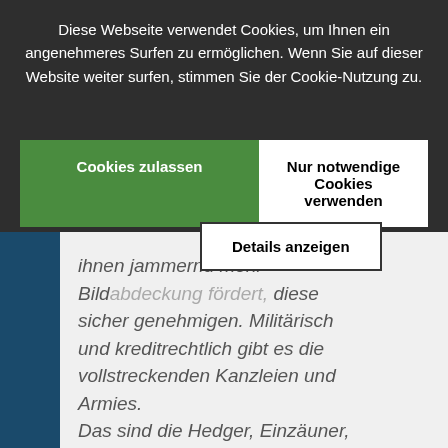Diese Webseite verwendet Cookies, um Ihnen ein angenehmeres Surfen zu ermöglichen. Wenn Sie auf dieser Website weiter surfen, stimmen Sie der Cookie-Nutzung zu.
Cookies zulassen
Nur notwendige Cookies verwenden
Details anzeigen
ihnen jammernd mehr Bildabdeckung fördert, diese sicher genehmigen. Militärisch und kreditrechtlich gibt es die vollstreckenden Kanzleien und Armies. Das sind die Hedger, Einzäuner, die über den geschützten Bereich locker (Quantitative Easing QE4Us, also die Beschliesser, verfügen. Das geht seit dem Bürgerkrieg der Staaten 1861 bis 1867 und der Institutionalisierung der Geldverfassung via des Bundes